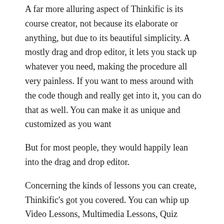A far more alluring aspect of Thinkific is its course creator, not because its elaborate or anything, but due to its beautiful simplicity. A mostly drag and drop editor, it lets you stack up whatever you need, making the procedure all very painless. If you want to mess around with the code though and really get into it, you can do that as well. You can make it as unique and customized as you want
But for most people, they would happily lean into the drag and drop editor.
Concerning the kinds of lessons you can create, Thinkific's got you covered. You can whip up Video Lessons, Multimedia Lessons, Quiz Lessons, Survey Lessons and Audio lessons to name a few. It is all there.
Communication with your students is also a breeze. You can send individual emails to your students or start a conversation with the whole community. They even remember to focus on the little things that people have a tendency to gloss over: Visual Management. Each